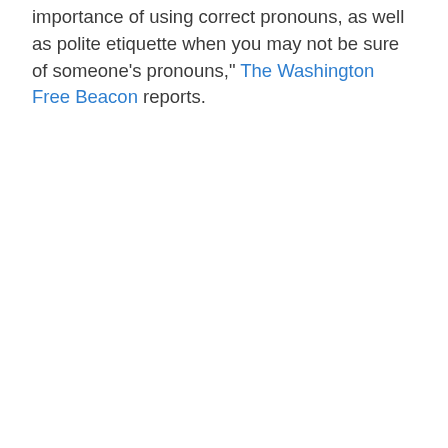importance of using correct pronouns, as well as polite etiquette when you may not be sure of someone's pronouns," The Washington Free Beacon reports.